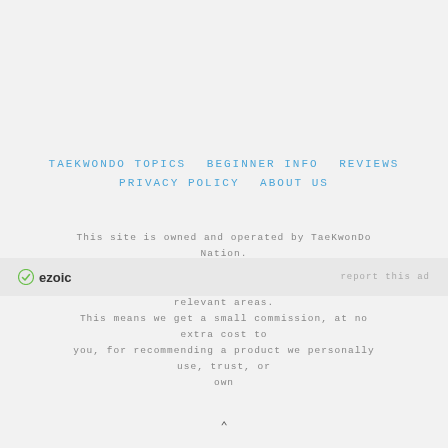TAEKWONDO TOPICS   BEGINNER INFO   REVIEWS   PRIVACY POLICY   ABOUT US
This site is owned and operated by TaeKwonDo Nation. Copyright 2022 Our website contains some affiliate links in relevant areas. This means we get a small commission, at no extra cost to you, for recommending a product we personally use, trust, or own
[Figure (logo): Ezoic logo with green checkmark icon and bold text 'ezoic']
report this ad